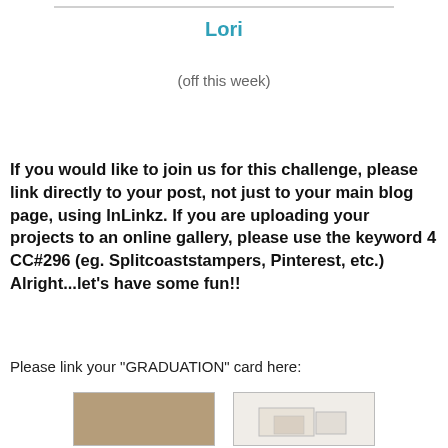Lori
(off this week)
If you would like to join us for this challenge, please link directly to your post, not just to your main blog page, using InLinkz. If you are uploading your projects to an online gallery, please use the keyword 4 CC#296 (eg. Splitcoaststampers, Pinterest, etc.) Alright...let's have some fun!!
Please link your "GRADUATION" card here:
[Figure (photo): Thumbnail image of a kraft-colored card]
[Figure (photo): Thumbnail image of a light-colored graduation card]